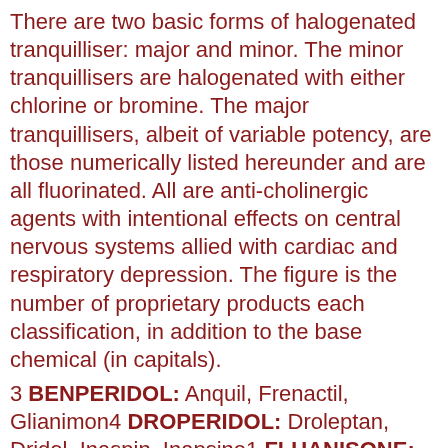There are two basic forms of halogenated tranquilliser: major and minor. The minor tranquillisers are halogenated with either chlorine or bromine. The major tranquillisers, albeit of variable potency, are those numerically listed hereunder and are all fluorinated. All are anti-cholinergic agents with intentional effects on central nervous systems allied with cardiac and respiratory depression. The figure is the number of proprietary products each classification, in addition to the base chemical (in capitals).
3 BENPERIDOL: Anquil, Frenactil, Glianimon4 DROPERIDOL: Droleptan, Dridol, Inaspin, Inapsine1 FLUANISONE: Sedalande1 FLUBUPERONE HYDROCHLORIDE: Buronil1 FLUNITRAZEPAM: Rohypnol3